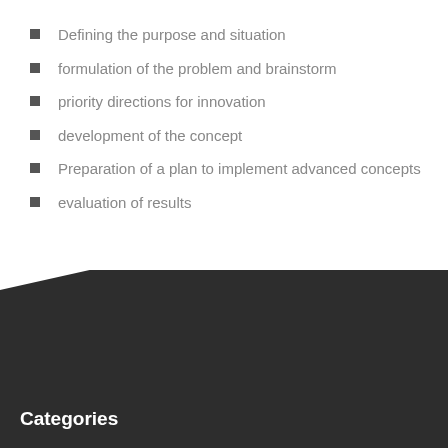Defining the purpose and situation
formulation of the problem and brainstorm
priority directions for innovation
development of the concept
Preparation of a plan to implement advanced concepts
evaluation of results
[Figure (infographic): Social media icons (Facebook, Google+, Twitter, Plus) on left side; dark triangular background shape; search bar with placeholder text 'To search type and hit enter']
To search type and hit enter
Categories